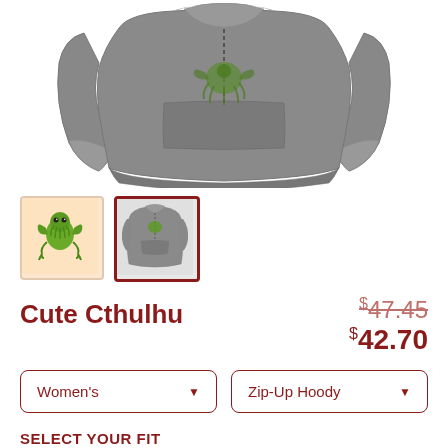[Figure (photo): Gray zip-up hoodie shown from the back, displaying front and side views. The hoodie is a medium gray fabric with ribbed cuffs and waistband.]
[Figure (photo): Two product thumbnails: first shows a cute cartoon Cthulhu monster on a peach/tan background; second (selected, red border) shows the gray hoodie with the Cthulhu design on the back.]
Cute Cthulhu
$47.45 (strikethrough original price) $42.70 (sale price)
Women's dropdown selector
Zip-Up Hoody dropdown selector
SELECT YOUR FIT